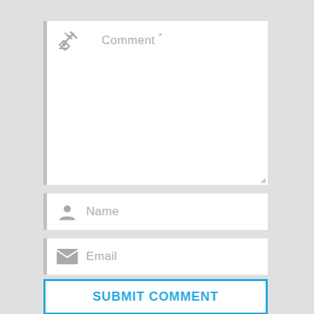[Figure (screenshot): Web comment form with four input fields (Comment, Name, Email, Website) and a Submit Comment button. Fields have left gray border accent, icons (pencil, person, envelope, globe), and placeholder text. Submit button has blue border with blue text.]